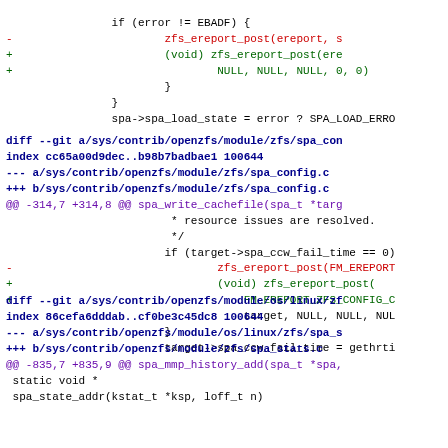if (error != EBADF) {
- zfs_ereport_post(ereport, s
+ (void) zfs_ereport_post(ere
+ NULL, NULL, NULL, 0, 0)
}
}
spa->spa_load_state = error ? SPA_LOAD_ERRO
diff --git a/sys/contrib/openzfs/module/zfs/spa_con
index cc65a00d9dec..b98b7badbae1 100644
--- a/sys/contrib/openzfs/module/zfs/spa_config.c
+++ b/sys/contrib/openzfs/module/zfs/spa_config.c
@@ -314,7 +314,8 @@ spa_write_cachefile(spa_t *targ
 * resource issues are resolved.
 */
if (target->spa_ccw_fail_time == 0)
- zfs_ereport_post(FM_EREPORT
+ (void) zfs_ereport_post(
+ FM_EREPORT_ZFS_CONFIG_C
 target, NULL, NULL, NUL
}
target->spa_ccw_fail_time = gethrti
diff --git a/sys/contrib/openzfs/module/os/linux/zf
index 86cefa6dddab..cf0be3c45dc8 100644
--- a/sys/contrib/openzfs/module/os/linux/zfs/spa_s
+++ b/sys/contrib/openzfs/module/zfs/spa_stats.c
@@ -835,7 +835,9 @@ spa_mmp_history_add(spa_t *spa,
 static void *
 spa_state_addr(kstat_t *ksp, loff_t n)